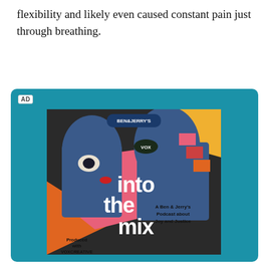flexibility and likely even caused constant pain just through breathing.
[Figure (illustration): Advertisement with teal background showing the 'Into the Mix' podcast cover art by Ben & Jerry's, produced with Vox Creative. The cover art features stylized illustrated figures in blue, pink, orange and yellow with large white text reading 'into the mix' and subtitle 'A Ben & Jerry's Podcast about Joy and Justice'. Ben & Jerry's logo appears at top. 'Produced with VOXCREATIVE' text in lower left.]